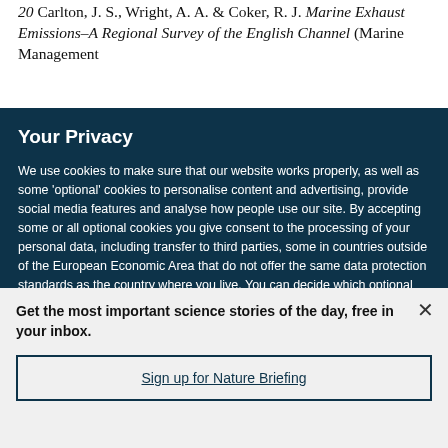20 Carlton, J. S., Wright, A. A. & Coker, R. J. Marine Exhaust Emissions–A Regional Survey of the English Channel (Marine Management
Your Privacy
We use cookies to make sure that our website works properly, as well as some 'optional' cookies to personalise content and advertising, provide social media features and analyse how people use our site. By accepting some or all optional cookies you give consent to the processing of your personal data, including transfer to third parties, some in countries outside of the European Economic Area that do not offer the same data protection standards as the country where you live. You can decide which optional cookies to accept by clicking on 'Manage Settings', where you can
Get the most important science stories of the day, free in your inbox.
Sign up for Nature Briefing